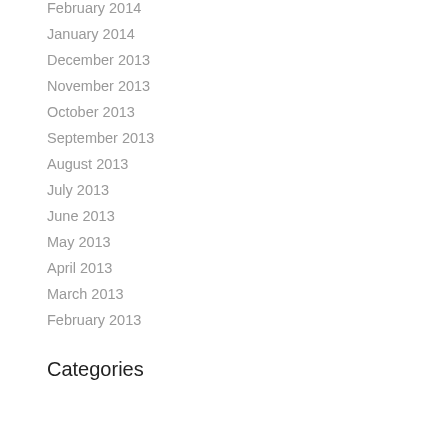February 2014
January 2014
December 2013
November 2013
October 2013
September 2013
August 2013
July 2013
June 2013
May 2013
April 2013
March 2013
February 2013
Categories